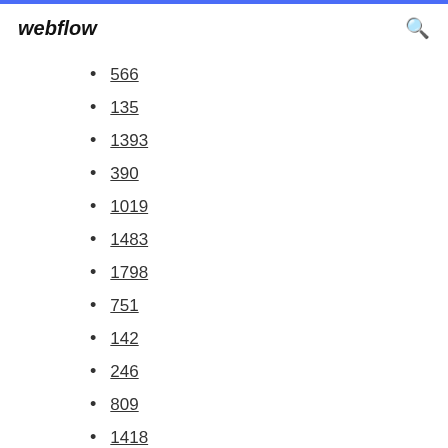webflow
566
135
1393
390
1019
1483
1798
751
142
246
809
1418